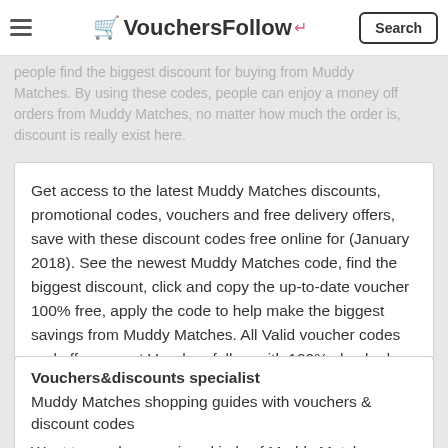VouchersFollow — Search
people find the biggest discount for buying from Muddy Matches. By using these codes, people can enjoy a money off orders from Muddy Matches, no matter how much the order is, discount is really exist here.
Get access to the latest Muddy Matches discounts, promotional codes, vouchers and free delivery offers, save with these discount codes free online for (January 2018). See the newest Muddy Matches code, find the biggest discount, click and copy the up-to-date voucher 100% free, apply the code to help make the biggest savings from Muddy Matches. All Valid voucher codes and offers are at Vouchersfollow with 100% checked daily.
Vouchers&discounts specialist
Muddy Matches shopping guides with vouchers & discount codes
Want to purchase various kinds of Muddy Matches products at the most affordable prices? We 'll provide the Latest valid